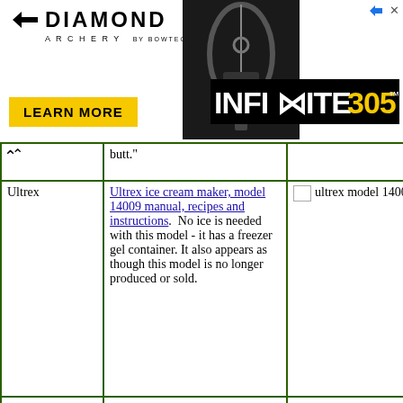[Figure (screenshot): Diamond Archery advertisement banner with logo, bow image, LEARN MORE button, and INFINITE 305 branding]
|  | butt." |  |
| Ultrex | Ultrex ice cream maker, model 14009 manual, recipes and instructions. No ice is needed with this model - it has a freezer gel container. It also appears as though this model is no longer produced or sold. | ultrex model 14009 ice cre[ам image] |
|  | Instructions, Recipes, and Parts | [image] |